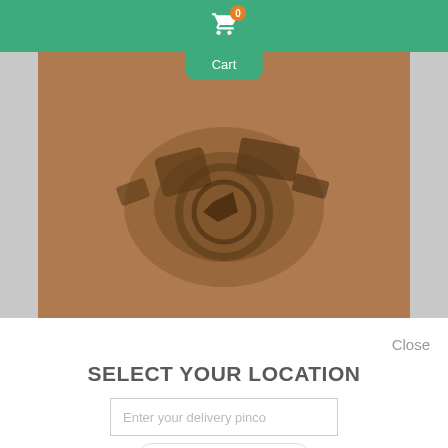[Figure (screenshot): Green navigation bar with shopping cart icon and orange badge showing 0, with Cart dropdown label below]
[Figure (photo): Product image area showing mechanical/robotic components on brown background]
Close
SELECT YOUR LOCATION
Enter your delivery pinco
SUBMIT
[Figure (screenshot): Bottom section with gray background showing partial 'Hungry?' text, price tag icon, play button icon, and WhatsApp icon]